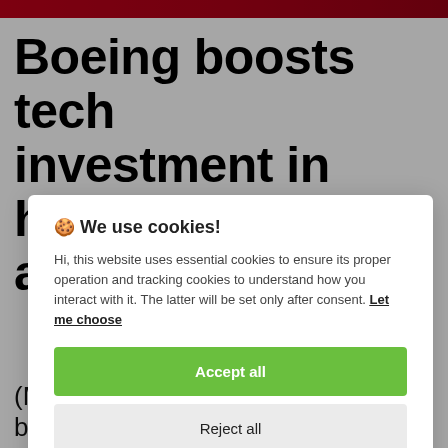Boeing boosts tech investment in hybrid, a...
🍪 We use cookies!
Hi, this website uses essential cookies to ensure its proper operation and tracking cookies to understand how you interact with it. The latter will be set only after consent. Let me choose
Accept all
Reject all
(MENAEN- Gulf Times) Boeing is beefing